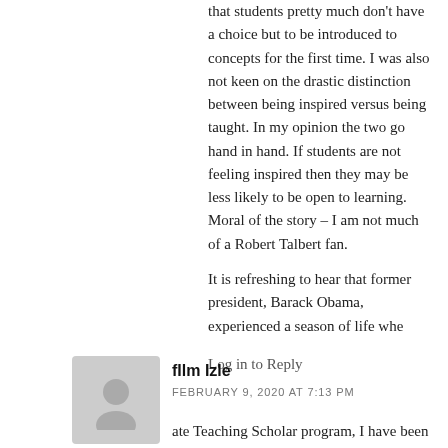that students pretty much don't have a choice but to be introduced to concepts for the first time. I was also not keen on the drastic distinction between being inspired versus being taught. In my opinion the two go hand in hand. If students are not feeling inspired then they may be less likely to be open to learning. Moral of the story – I am not much of a Robert Talbert fan.
It is refreshing to hear that former president, Barack Obama, experienced a season of life whe
Log in to Reply
[Figure (illustration): Grey avatar placeholder icon showing a generic person silhouette]
fIlm Izle
FEBRUARY 9, 2020 AT 7:13 PM
ate Teaching Scholar program, I have been